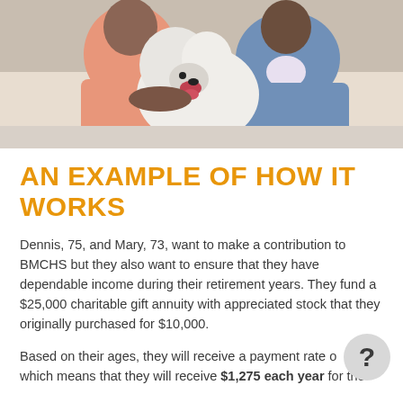[Figure (photo): Elderly couple sitting on a couch with a fluffy white dog between them. The man on the left wears a pink/salmon plaid shirt, the woman on the right wears a blue denim shirt.]
AN EXAMPLE OF HOW IT WORKS
Dennis, 75, and Mary, 73, want to make a contribution to BMCHS but they also want to ensure that they have dependable income during their retirement years. They fund a $25,000 charitable gift annuity with appreciated stock that they originally purchased for $10,000.
Based on their ages, they will receive a payment rate of [?], which means that they will receive $1,275 each year for the